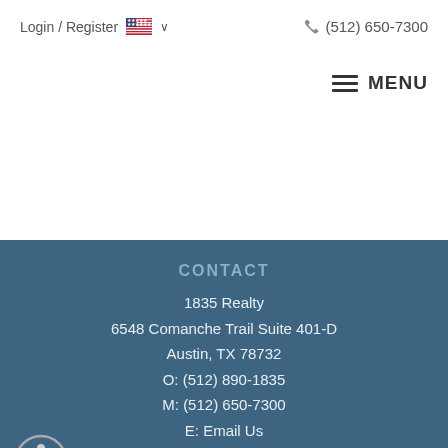Login / Register  🇺🇸 ∨         (512) 650-7300
≡ MENU
CONTACT
1835 Realty
6548 Comanche Trail Suite 401-D
Austin, TX 78732
O: (512) 890-1835
M: (512) 650-7300
E: Email Us
CONNECT
f Facebook
[Figure (illustration): Accessibility wheelchair user icon in a circle]